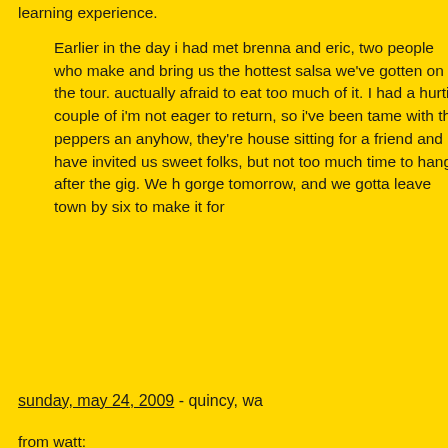learning experience.
Earlier in the day i had met brenna and eric, two people who make and bring us the hottest salsa we've gotten on the tour. auctually afraid to eat too much of it. I had a hurtin' couple of i'm not eager to return, so i've been tame with the peppers an anyhow, they're house sitting for a friend and have invited us sweet folks, but not too much time to hang after the gig. We h gorge tomorrow, and we gotta leave town by six to make it for
sunday, may 24, 2009 - quincy, wa
from watt:
man, am I samui, shivering w/cold. I try putting my levis bac up the ronnie coat. one prob w/tiny blankies is cuz I thrash ar they come off me. tiny the other way is being thin and not kee even though it's may, bellingham is up north and it is not a wa was a warm spring day earlier. about five bells, I get off the co being not able to konk again... what a trip, I get up and there i big malamute dog and a tall man right behind him, it's mero